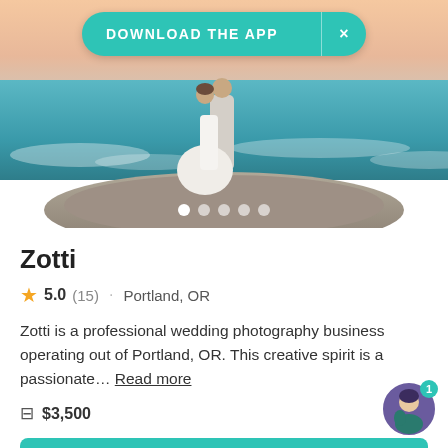[Figure (photo): Wedding couple embracing on rocky shoreline by ocean at sunset; banner overlay reading DOWNLOAD THE APP with X close button in teal pill shape; five dot carousel indicators at bottom]
Zotti
5.0 (15) · Portland, OR
Zotti is a professional wedding photography business operating out of Portland, OR. This creative spirit is a passionate… Read more
$3,500
Request pricing